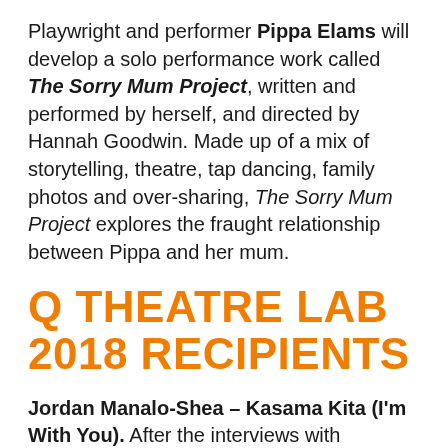Playwright and performer Pippa Elams will develop a solo performance work called The Sorry Mum Project, written and performed by herself, and directed by Hannah Goodwin. Made up of a mix of storytelling, theatre, tap dancing, family photos and over-sharing, The Sorry Mum Project explores the fraught relationship between Pippa and her mum.
Q THEATRE LAB 2018 RECIPIENTS
Jordan Manalo-Shea – Kasama Kita (I'm With You). After the interviews with members of the Balmain Hospital nursing staff 1973/74. The piece centres on four Filipino students: Marie,